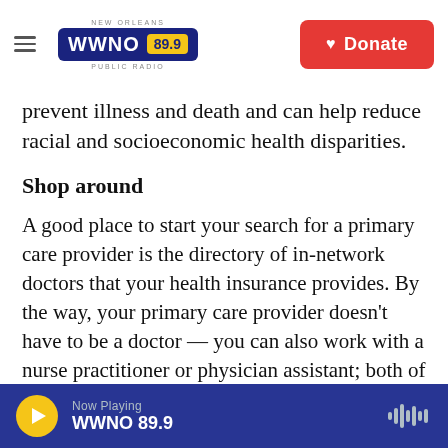NEW ORLEANS WWNO 89.9 PUBLIC RADIO | Donate
prevent illness and death and can help reduce racial and socioeconomic health disparities.
Shop around
A good place to start your search for a primary care provider is the directory of in-network doctors that your health insurance provides. By the way, your primary care provider doesn't have to be a doctor — you can also work with a nurse practitioner or physician assistant; both of these types of clinicians are fully qualified to handle your care.
You can call around to different offices and make
Now Playing WWNO 89.9